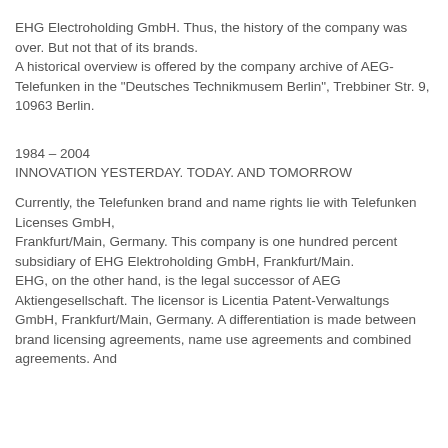EHG Electroholding GmbH. Thus, the history of the company was over. But not that of its brands.
A historical overview is offered by the company archive of AEG-Telefunken in the "Deutsches Technikmusem Berlin", Trebbiner Str. 9, 10963 Berlin.
1984 – 2004
INNOVATION YESTERDAY. TODAY. AND TOMORROW
Currently, the Telefunken brand and name rights lie with Telefunken Licenses GmbH, Frankfurt/Main, Germany. This company is one hundred percent subsidiary of EHG Elektroholding GmbH, Frankfurt/Main.
EHG, on the other hand, is the legal successor of AEG Aktiengesellschaft. The licensor is Licentia Patent-Verwaltungs GmbH, Frankfurt/Main, Germany. A differentiation is made between brand licensing agreements, name use agreements and combined agreements. And